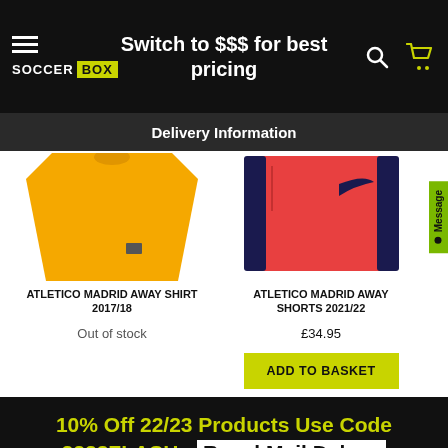Switch to $$$ for best pricing
Delivery Information
[Figure (photo): Yellow Atletico Madrid away shirt 2017/18]
ATLETICO MADRID AWAY SHIRT 2017/18
Out of stock
[Figure (photo): Red/orange Atletico Madrid away shorts 2021/22 with Nike swoosh]
ATLETICO MADRID AWAY SHORTS 2021/22
£34.95
ADD TO BASKET
10% Off 22/23 Products Use Code 2223FLASH - Royal Mail Delays